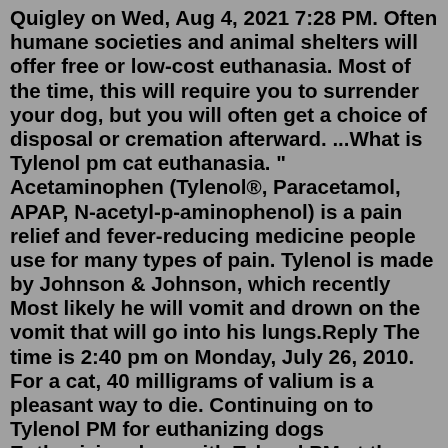Quigley on Wed, Aug 4, 2021 7:28 PM. Often humane societies and animal shelters will offer free or low-cost euthanasia. Most of the time, this will require you to surrender your dog, but you will often get a choice of disposal or cremation afterward. ...What is Tylenol pm cat euthanasia. " Acetaminophen (Tylenol®, Paracetamol, APAP, N-acetyl-p-aminophenol) is a pain relief and fever-reducing medicine people use for many types of pain. Tylenol is made by Johnson & Johnson, which recently Most likely he will vomit and drown on the vomit that will go into his lungs.Reply The time is 2:40 pm on Monday, July 26, 2010. For a cat, 40 milligrams of valium is a pleasant way to die. Continuing on to Tylenol PM for euthanizing dogs Euthanizing dogs with Tylenol PM at the rate of six per hour 7, Benadryl for euthanasia of dogs The medications listed above are included in this category.. 1.5. 2. My sister-in-law, who has hypothalicemia (severe anemia) wasn't able to produce much breastmilk at all after her son was